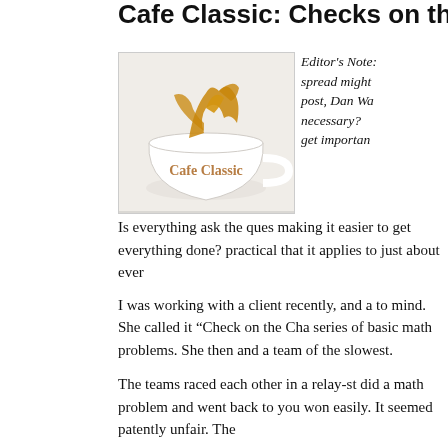Cafe Classic: Checks on the
[Figure (photo): White coffee cup with a splash of coffee above it, with text 'Cafe Classic' overlaid in brown.]
Editor's Note: spread might post, Dan Wa necessary? get importan
Is everything ask the ques making it easier to get everything done? practical that it applies to just about ever
I was working with a client recently, and a to mind. She called it "Check on the Cha series of basic math problems. She then and a team of the slowest.
The teams raced each other in a relay-st did a math problem and went back to you won easily. It seemed patently unfair. The
In the second race, the "fast team" was a to put a check mark on the chalkboard at they correctly answered each question.